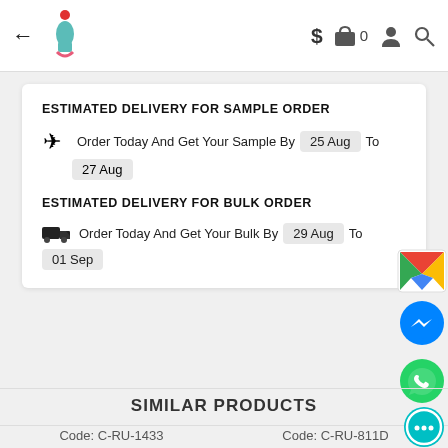← [logo] $ [bag] 0 [user] [search]
ESTIMATED DELIVERY FOR SAMPLE ORDER
✈ Order Today And Get Your Sample By  25 Aug  To  27 Aug
ESTIMATED DELIVERY FOR BULK ORDER
🚚 Order Today And Get Your Bulk By  29 Aug  To  01 Sep
SIMILAR PRODUCTS
Code: C-RU-1433
Code: C-RU-811D